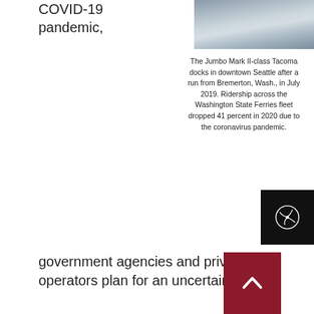COVID-19 pandemic,
[Figure (photo): Aerial or water-level photo of a ferry/water scene, grey tones]
The Jumbo Mark II-class Tacoma docks in downtown Seattle after a run from Bremerton, Wash., in July 2019. Ridership across the Washington State Ferries fleet dropped 41 percent in 2020 due to the coronavirus pandemic.
[Figure (logo): Black box with white spiral/swirl icon (Seabourn or similar maritime logo)]
government agencies and private operators plan for an uncertain future.
Globally, ferry ridership dropped as much as 90 percent due to the pandemic, according to Interferry, the international industry trade g... The Passenger Vessel Association reported a similar impact last year on the U.S. ferry industry
[Figure (other): Dark red scroll-to-top button with upward chevron arrow]